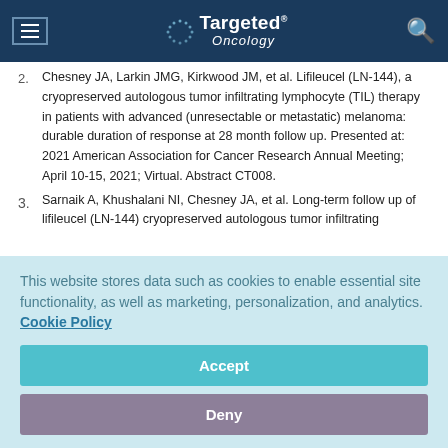Targeted Oncology
2. Chesney JA, Larkin JMG, Kirkwood JM, et al. Lifileucel (LN-144), a cryopreserved autologous tumor infiltrating lymphocyte (TIL) therapy in patients with advanced (unresectable or metastatic) melanoma: durable duration of response at 28 month follow up. Presented at: 2021 American Association for Cancer Research Annual Meeting; April 10-15, 2021; Virtual. Abstract CT008.
3. Sarnaik A, Khushalani NI, Chesney JA, et al. Long-term follow up of lifileucel (LN-144) cryopreserved autologous tumor infiltrating
This website stores data such as cookies to enable essential site functionality, as well as marketing, personalization, and analytics. Cookie Policy
Accept
Deny